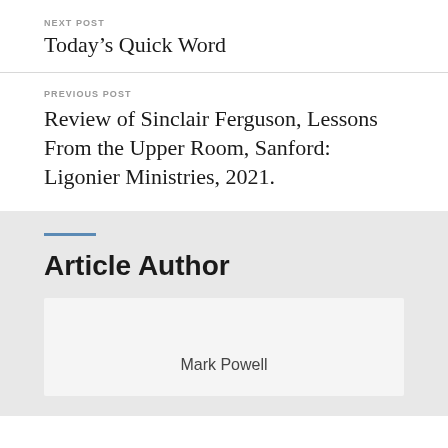NEXT POST
Today’s Quick Word
PREVIOUS POST
Review of Sinclair Ferguson, Lessons From the Upper Room, Sanford: Ligonier Ministries, 2021.
Article Author
Mark Powell